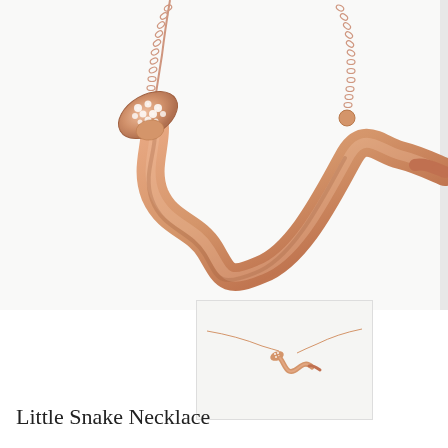[Figure (photo): Close-up product photo of a rose gold snake necklace pendant with pavé diamond head, shown with chain against white background]
[Figure (photo): Thumbnail image showing the full snake necklace worn/laid flat, showing the complete chain and small snake pendant]
Little Snake Necklace